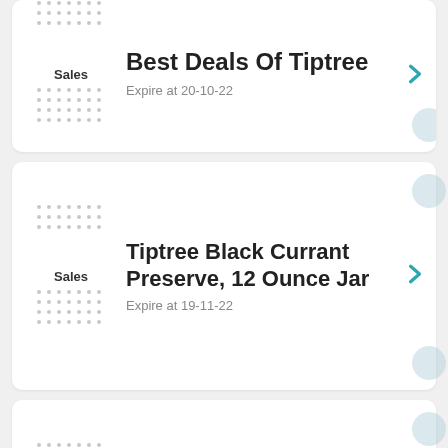Sales | Best Deals Of Tiptree | Expire at 20-10-22
Sales | Tiptree Black Currant Preserve, 12 Ounce Jar | Expire at 19-11-22
Sales | Tiptree Damson Preserve, 12 Ounce Jar | Expire at 19-11-22